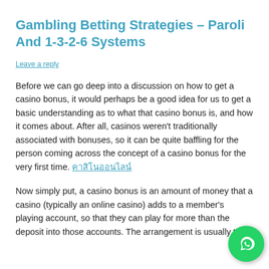Gambling Betting Strategies – Paroli And 1-3-2-6 Systems
Leave a reply
Before we can go deep into a discussion on how to get a casino bonus, it would perhaps be a good idea for us to get a basic understanding as to what that casino bonus is, and how it comes about. After all, casinos weren't traditionally associated with bonuses, so it can be quite baffling for the person coming across the concept of a casino bonus for the very first time. คาสิโนออนไลน์
Now simply put, a casino bonus is an amount of money that a casino (typically an online casino) adds to a member's playing account, so that they can play for more than they deposit into those accounts. The arrangement is usually to